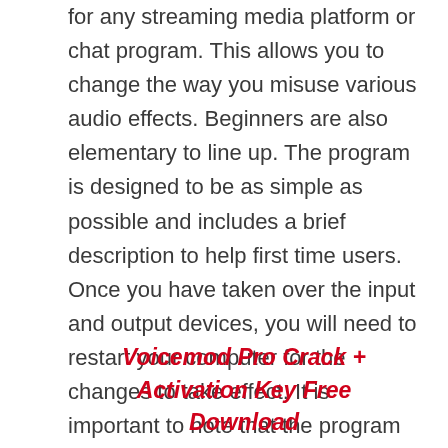for any streaming media platform or chat program. This allows you to change the way you misuse various audio effects. Beginners are also elementary to line up. The program is designed to be as simple as possible and includes a brief description to help first time users. Once you have taken over the input and output devices, you will need to restart your computer for the changes to take effect. It is important to note that the program tries to expect a sampling rate. Therefore, you should change the microphone settings for full positive functionality. There are video tutorials to help you.
Voicemod Pro Crack + Activation Key Free Download